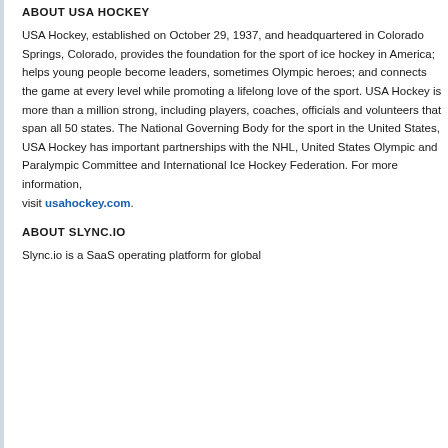ABOUT USA HOCKEY
USA Hockey, established on October 29, 1937, and headquartered in Colorado Springs, Colorado, provides the foundation for the sport of ice hockey in America; helps young people become leaders, sometimes Olympic heroes; and connects the game at every level while promoting a lifelong love of the sport. USA Hockey is more than a million strong, including players, coaches, officials and volunteers that span all 50 states. The National Governing Body for the sport in the United States, USA Hockey has important partnerships with the NHL, United States Olympic and Paralympic Committee and International Ice Hockey Federation. For more information, visit usahockey.com.
ABOUT SLYNC.IO
Slync.io is a SaaS operating platform for global